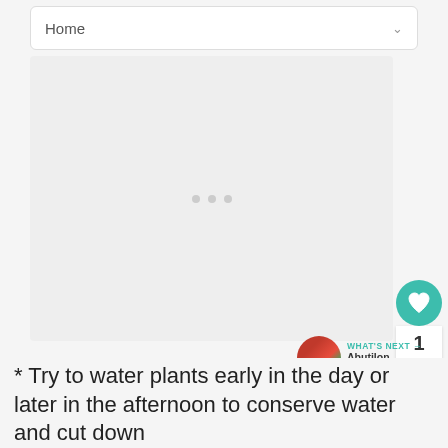Home
[Figure (screenshot): Loading placeholder area with three gray dots in the center]
1
WHAT'S NEXT → Abutilon megapotamic...
* Try to water plants early in the day or later in the afternoon to conserve water and cut down